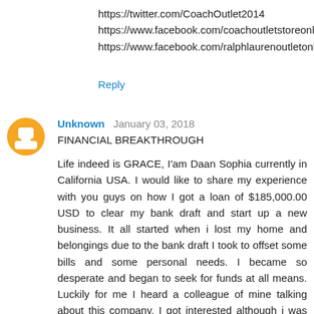https://twitter.com/CoachOutlet2014
https://www.facebook.com/coachoutletstoreonline
https://www.facebook.com/ralphlaurenoutletonline
Reply
Unknown  January 03, 2018
FINANCIAL BREAKTHROUGH
Life indeed is GRACE, I'am Daan Sophia currently in California USA. I would like to share my experience with you guys on how I got a loan of $185,000.00 USD to clear my bank draft and start up a new business. It all started when i lost my home and belongings due to the bank draft I took to offset some bills and some personal needs. I became so desperate and began to seek for funds at all means. Luckily for me I heard a colleague of mine talking about this company, I got interested although i was scared of being scammed, I was compelled by my situation and had no choice than to seek advise from my friend regarding this very company and was given their contact number,